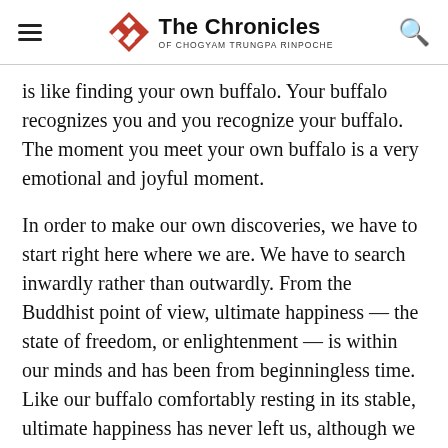The Chronicles of Chogyam Trungpa Rinpoche
is like finding your own buffalo. Your buffalo recognizes you and you recognize your buffalo. The moment you meet your own buffalo is a very emotional and joyful moment.
In order to make our own discoveries, we have to start right here where we are. We have to search inwardly rather than outwardly. From the Buddhist point of view, ultimate happiness — the state of freedom, or enlightenment — is within our minds and has been from beginningless time. Like our buffalo comfortably resting in its stable, ultimate happiness has never left us, although we have developed the idea that it has left home. We think it